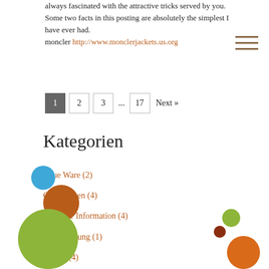always fascinated with the attractive tricks served by you. Some two facts in this posting are absolutely the simplest I have ever had. moncler http://www.monclerjackets.us.org
1
2
3
...
17
Next »
Kategorien
Neue Ware (2)
Geschlossen (4)
Wichtige Information (4)
Neueröffnung (1)
Urlaub (4)
Garagentrödel (1)
[Figure (illustration): Decorative circles in blue, brown, green, and orange colors at the bottom of the page]